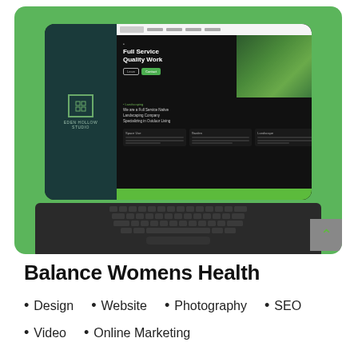[Figure (screenshot): A tablet with keyboard showing a landscaping company website on a green background. The website has a dark sidebar with a logo, a navigation bar, a hero section with 'Full Service Quality Work' text and green CTA button, and a green bar at the bottom.]
Balance Womens Health
Design
Website
Photography
SEO
Video
Online Marketing